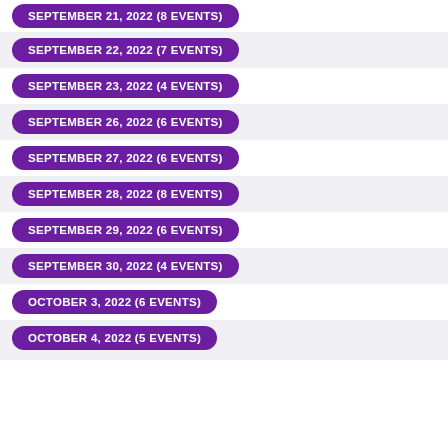SEPTEMBER 21, 2022 (8 EVENTS)
SEPTEMBER 22, 2022 (7 EVENTS)
SEPTEMBER 23, 2022 (4 EVENTS)
SEPTEMBER 26, 2022 (6 EVENTS)
SEPTEMBER 27, 2022 (6 EVENTS)
SEPTEMBER 28, 2022 (8 EVENTS)
SEPTEMBER 29, 2022 (6 EVENTS)
SEPTEMBER 30, 2022 (4 EVENTS)
OCTOBER 3, 2022 (6 EVENTS)
OCTOBER 4, 2022 (5 EVENTS)